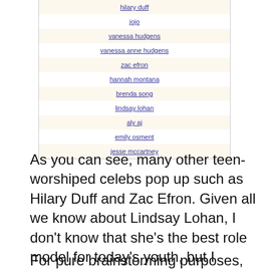| hilary duff |
| jojo |
| vanessa hudgens |
| vanessa anne hudgens |
| zac efron |
| hannah montana |
| brenda song |
| lindsay lohan |
| aly aj |
| emily osment |
| jesse mccartney |
As you can see, many other teen-worshiped celebs pop up such as Hilary Duff and Zac Efron. Given all we know about Lindsay Lohan, I don't know that she's the best role model for today's youth, but I digress.
For pure brainstorming purposes, this is a great